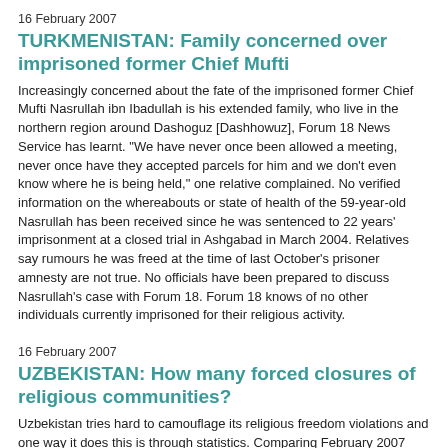16 February 2007
TURKMENISTAN: Family concerned over imprisoned former Chief Mufti
Increasingly concerned about the fate of the imprisoned former Chief Mufti Nasrullah ibn Ibadullah is his extended family, who live in the northern region around Dashoguz [Dashhowuz], Forum 18 News Service has learnt. "We have never once been allowed a meeting, never once have they accepted parcels for him and we don't even know where he is being held," one relative complained. No verified information on the whereabouts or state of health of the 59-year-old Nasrullah has been received since he was sentenced to 22 years' imprisonment at a closed trial in Ashgabad in March 2004. Relatives say rumours he was freed at the time of last October's prisoner amnesty are not true. No officials have been prepared to discuss Nasrullah's case with Forum 18. Forum 18 knows of no other individuals currently imprisoned for their religious activity.
16 February 2007
UZBEKISTAN: How many forced closures of religious communities?
Uzbekistan tries hard to camouflage its religious freedom violations and one way it does this is through statistics. Comparing February 2007 figures from the state Religious Affairs Committee with October 2002 figures, Forum 18 News Service notes that a net total of six Christian churches are indicated to have lost registration, along with one Jehovah's Witness, one Hare Krishna and one Baha'i community. The figures cannot be independently verified and